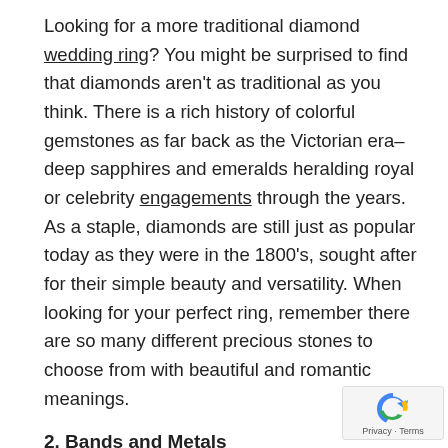Looking for a more traditional diamond wedding ring? You might be surprised to find that diamonds aren't as traditional as you think. There is a rich history of colorful gemstones as far back as the Victorian era–deep sapphires and emeralds heralding royal or celebrity engagements through the years. As a staple, diamonds are still just as popular today as they were in the 1800's, sought after for their simple beauty and versatility. When looking for your perfect ring, remember there are so many different precious stones to choose from with beautiful and romantic meanings.
2. Bands and Metals